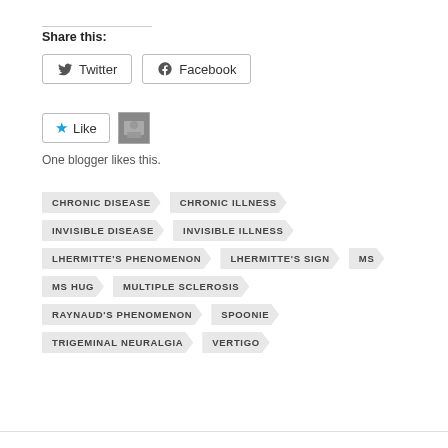Share this:
Twitter
Facebook
Like
One blogger likes this.
CHRONIC DISEASE
CHRONIC ILLNESS
INVISIBLE DISEASE
INVISIBLE ILLNESS
LHERMITTE'S PHENOMENON
LHERMITTE'S SIGN
MS
MS HUG
MULTIPLE SCLEROSIS
RAYNAUD'S PHENOMENON
SPOONIE
TRIGEMINAL NEURALGIA
VERTIGO